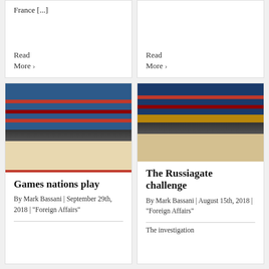France [...]
Read More ›
Read More ›
[Figure (photo): Trump and Kim Jong-un shaking hands in front of North Korean and American flags]
Games nations play
By Mark Bassani | September 29th, 2018 | "Foreign Affairs"
[Figure (photo): Trump and Putin shaking hands at a table in front of American and Russian flags]
The Russiagate challenge
By Mark Bassani | August 15th, 2018 | "Foreign Affairs"
The investigation